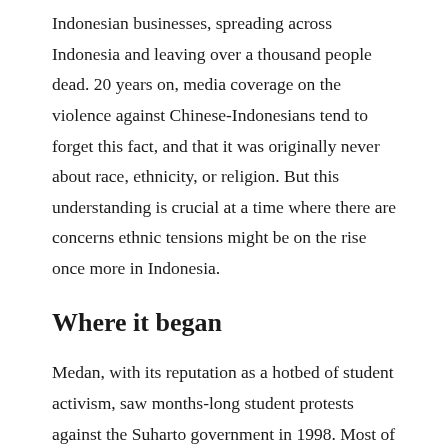Indonesian businesses, spreading across Indonesia and leaving over a thousand people dead. 20 years on, media coverage on the violence against Chinese-Indonesians tend to forget this fact, and that it was originally never about race, ethnicity, or religion. But this understanding is crucial at a time where there are concerns ethnic tensions might be on the rise once more in Indonesia.
Where it began
Medan, with its reputation as a hotbed of student activism, saw months-long student protests against the Suharto government in 1998. Most of these demonstrations were tied to rising prices across Indonesia, particularly the costs of gasoline and electricity. Moreover, the dire economic times also...